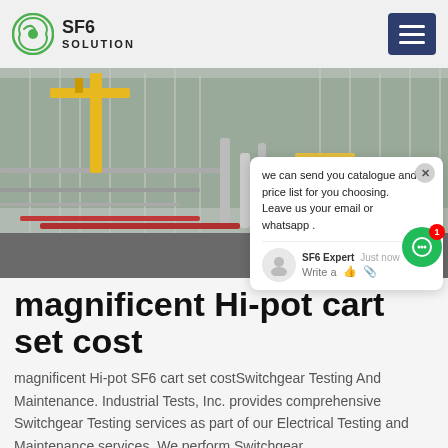SF6 SOLUTION
[Figure (photo): Industrial electrical substation with yellow crane, SF6 gas equipment service vehicle, pipes and steel structures]
we can send you catalogue and price list for you choosing. Leave us your email or whatsapp .
magnificent Hi-pot cart set cost
magnificent Hi-pot SF6 cart set costSwitchgear Testing And Maintenance. Industrial Tests, Inc. provides comprehensive Switchgear Testing services as part of our Electrical Testing and Maintenance services. We perform Switchgear